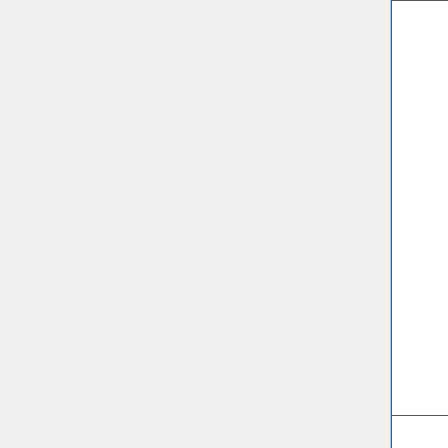| Name | Description | License |
| --- | --- | --- |
| BagIt | and script to package digital objects and metadata for archival storage | BSD |
| bulk_extractor | Disk image and file contents analysis tool | Public domain |
| Clam AV (anti-virus) | Anti-virus toolkit for UNIX | GNU General Public License (GPL) |
|  | Django is a |  |